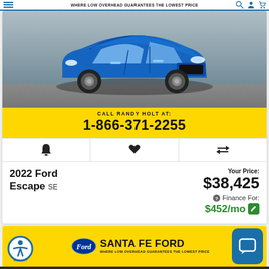SANTA FE FORD — WHERE LOW OVERHEAD GUARANTEES THE LOWEST PRICE
[Figure (photo): Blue 2022 Ford Escape SUV photographed from front-left angle on pavement]
CALL RANDY HOLT AT: 1-866-371-2255
[Figure (infographic): Action icons row: bell (alerts), heart (save), compare arrows]
2022 Ford Escape SE
Your Price: $38,425
Finance For: $452/mo
[Figure (logo): Santa Fe Ford dealership banner with Ford oval logo and tagline WHERE LOW OVERHEAD GUARANTEES THE LOWEST PRICE on yellow background]
Alerts  Save  Compare 0  Login